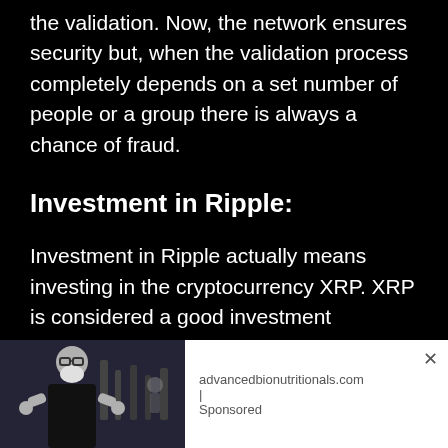the validation. Now, the network ensures security but, when the validation process completely depends on a set number of people or a group there is always a chance of fraud.
Investment in Ripple:
Investment in Ripple actually means investing in the cryptocurrency XRP. XRP is considered a good investment nowadays. You can also explore Chinese cryptocurrency digital Yuan by logging on this software. China is working actively in crypto domain and Blockchain, hence, investing in digital currency.The current price of XRP is $0.39 as of 7th July 2022. It is expected to become $2 soon in 2022 and $3
[Figure (photo): Advertisement banner showing a gray-bearded man in a gym setting, with text 'advancedbionutritionals.com | Sponsored' and a close button]